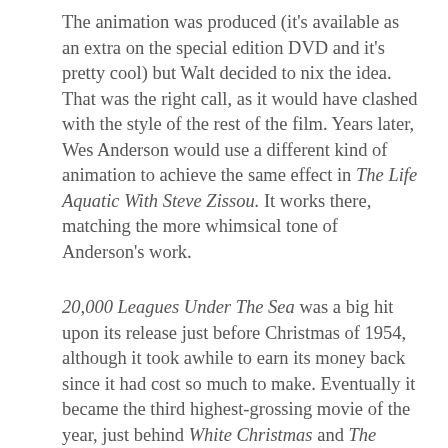The animation was produced (it's available as an extra on the special edition DVD and it's pretty cool) but Walt decided to nix the idea. That was the right call, as it would have clashed with the style of the rest of the film. Years later, Wes Anderson would use a different kind of animation to achieve the same effect in The Life Aquatic With Steve Zissou. It works there, matching the more whimsical tone of Anderson's work.
20,000 Leagues Under The Sea was a big hit upon its release just before Christmas of 1954, although it took awhile to earn its money back since it had cost so much to make. Eventually it became the third highest-grossing movie of the year, just behind White Christmas and The Caine Mutiny. It was by far the most successful live-action film Walt had